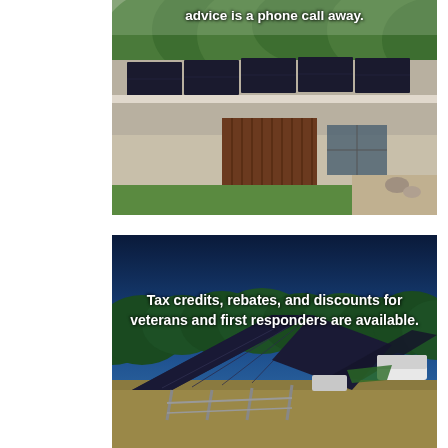[Figure (photo): Photo of a modern house with black solar panels installed on the roof. The house has a wood-panel accent wall and the photo is taken from a low angle showing the roofline against trees.]
advice is a phone call away.
[Figure (photo): Photo of a large ground-mounted solar panel array in an open field with dry grass, trees in the background and a blue sky. Metal pole mounting structure visible below the panels.]
Tax credits, rebates, and discounts for veterans and first responders are available.